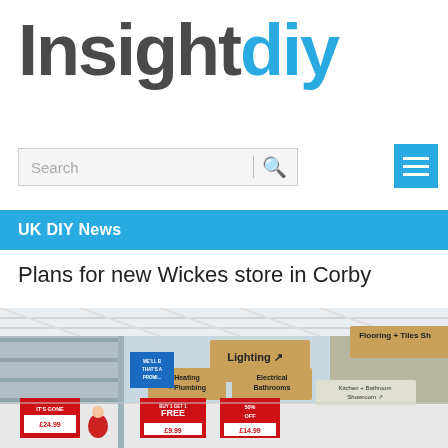[Figure (logo): InsightDIY logo — 'Insight' in dark grey bold, 'diy' in cyan/blue bold]
[Figure (screenshot): Search bar with placeholder text 'Search', a divider, and a blue magnifying glass icon on grey background]
[Figure (other): Blue hamburger menu button with three white horizontal lines]
UK DIY News
Plans for new Wickes store in Corby
[Figure (photo): Interior of a Wickes DIY store showing aisle signs for Lighting, Heating + Plumbing, Electrical Bathrooms, Kitchen + Bathroom Showroom, Flooring + Tiles Sh. Promotional red signs show prices like £24.99, £9.99, £14.99, 50% OFF, BUY 1 GET 1 FREE. A person in a red top is visible in the aisle.]